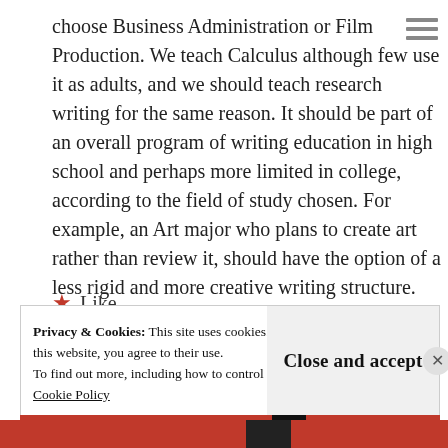choose Business Administration or Film Production. We teach Calculus although few use it as adults, and we should teach research writing for the same reason. It should be part of an overall program of writing education in high school and perhaps more limited in college, according to the field of study chosen. For example, an Art major who plans to create art rather than review it, should have the option of a less rigid and more creative writing structure.
★ Like
Privacy & Cookies: This site uses cookies. By continuing to use this website, you agree to their use. To find out more, including how to control cookies, see here: Cookie Policy
Close and accept